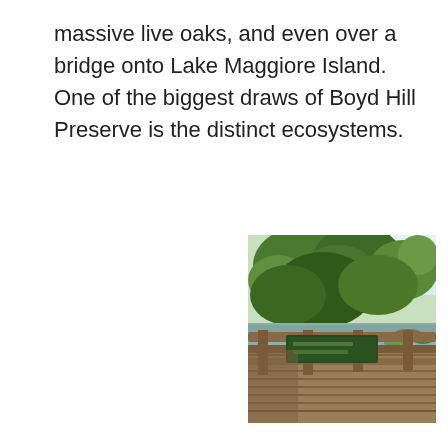massive live oaks, and even over a bridge onto Lake Maggiore Island. One of the biggest draws of Boyd Hill Preserve is the distinct ecosystems.
[Figure (photo): Photograph of a wooden bridge railing with a sign, surrounded by green trees and water in the background, taken at Boyd Hill Preserve.]